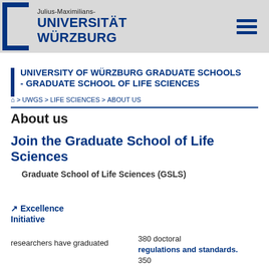[Figure (logo): Julius-Maximilians-Universität Würzburg logo with bracket mark and hamburger menu icon]
UNIVERSITY OF WÜRZBURG GRADUATE SCHOOLS - GRADUATE SCHOOL OF LIFE SCIENCES
🏠 > UWGS > LIFE SCIENCES > ABOUT US
About us
Join the Graduate School of Life Sciences
Graduate School of Life Sciences (GSLS)
↗ Excellence Initiative
researchers have graduated
380 doctoral regulations and standards. 350